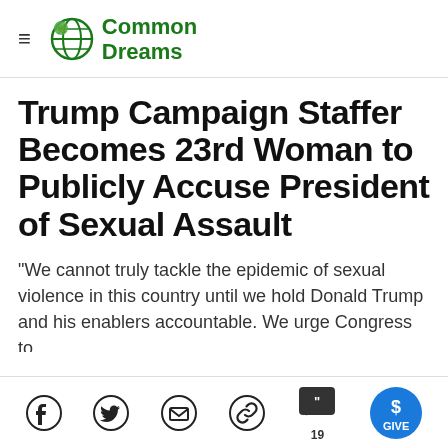Common Dreams
Trump Campaign Staffer Becomes 23rd Woman to Publicly Accuse President of Sexual Assault
"We cannot truly tackle the epidemic of sexual violence in this country until we hold Donald Trump and his enablers accountable. We urge Congress to
Social share icons: Facebook, Twitter, Email, Link, Comments (19), GIVE